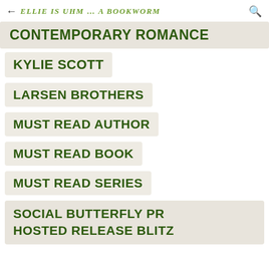← Ellie Is Uhm ... A Bookworm 🔍
CONTEMPORARY ROMANCE
KYLIE SCOTT
LARSEN BROTHERS
MUST READ AUTHOR
MUST READ BOOK
MUST READ SERIES
SOCIAL BUTTERFLY PR HOSTED RELEASE BLITZ